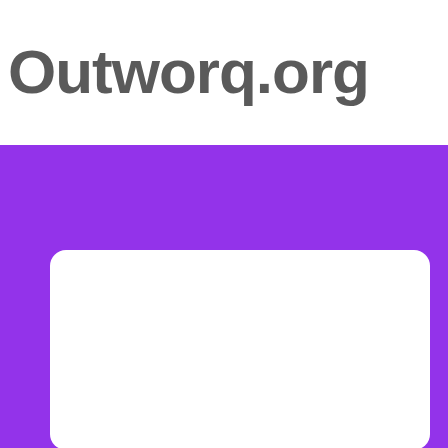Outworq.org
[Figure (screenshot): Purple background section with a white card containing a dark gray navigation bar with hamburger menu icon and blue search icon, and a breadcrumb trail showing home icon, chevrons, and 'Members' text with a horizontal divider line below.]